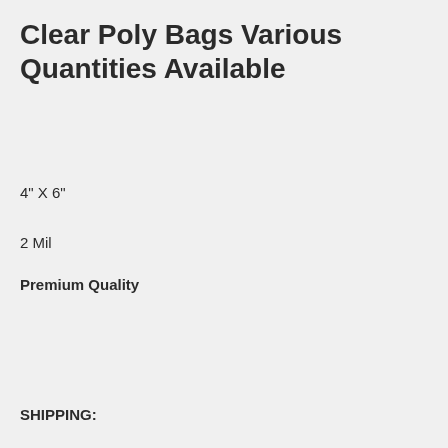Clear Poly Bags Various Quantities Available
4" X 6"
2 Mil
Premium Quality
SHIPPING: